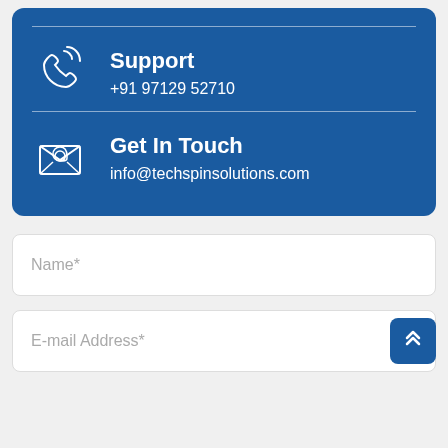[Figure (infographic): Blue contact card with phone icon, Support label, phone number, divider, email icon, Get In Touch label, and email address]
Support
+91 97129 52710
Get In Touch
info@techspinsolutions.com
Name*
E-mail Address*